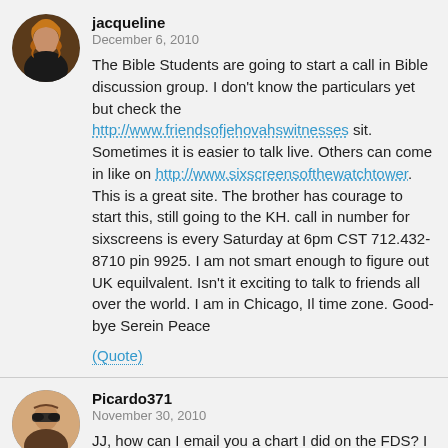[Figure (photo): Profile photo of Jacqueline, a woman with curly hair]
jacqueline
December 6, 2010
The Bible Students are going to start a call in Bible discussion group. I don't know the particulars yet but check the http://www.friendsofjehovahswitnesses sit. Sometimes it is easier to talk live. Others can come in like on http://www.sixscreensofthewatchtower. This is a great site. The brother has courage to start this, still going to the KH. call in number for sixscreens is every Saturday at 6pm CST 712.432-8710 pin 9925. I am not smart enough to figure out UK equilvalent. Isn't it exciting to talk to friends all over the world. I am in Chicago, Il time zone. Good-bye Serein Peace
(Quote)
[Figure (photo): Profile photo of Picardo371, a man with sunglasses]
Picardo371
November 30, 2010
JJ, how can I email you a chart I did on the FDS? I would like to get your feedback on it.